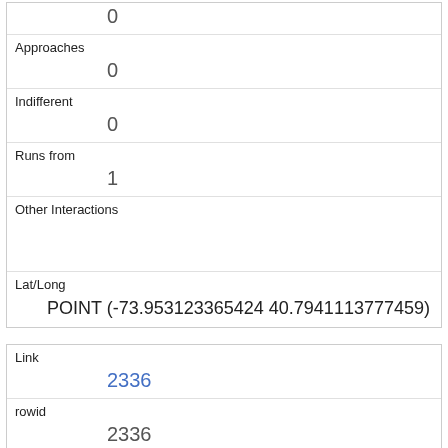|  | 0 |
| Approaches | 0 |
| Indifferent | 0 |
| Runs from | 1 |
| Other Interactions |  |
| Lat/Long | POINT (-73.953123365424 40.7941113777459) |
| Link | 2336 |
| rowid | 2336 |
| longitude | -73.95312632141359 |
| latitude | 40.7965675089932 |
| Unique Squirrel ID |  |